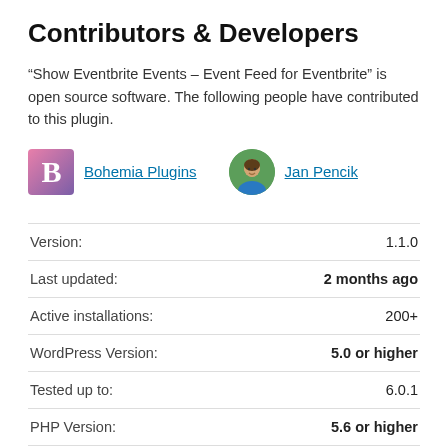Contributors & Developers
“Show Eventbrite Events – Event Feed for Eventbrite” is open source software. The following people have contributed to this plugin.
Bohemia Plugins
Jan Pencik
| Label | Value |
| --- | --- |
| Version: | 1.1.0 |
| Last updated: | 2 months ago |
| Active installations: | 200+ |
| WordPress Version: | 5.0 or higher |
| Tested up to: | 6.0.1 |
| PHP Version: | 5.6 or higher |
| Languages: | See all 3 |